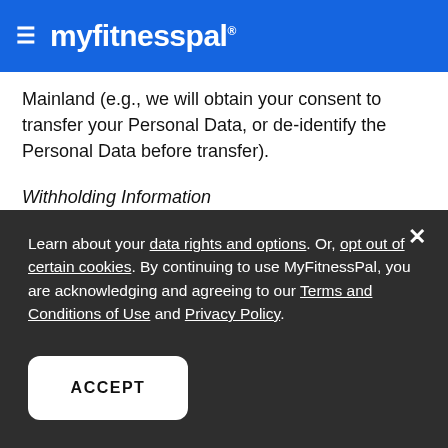≡ myfitnesspal
Mainland (e.g., we will obtain your consent to transfer your Personal Data, or de-identify the Personal Data before transfer).
Withholding Information
You may choose not to provide MyFitnessPal with your
Learn about your data rights and options. Or, opt out of certain cookies. By continuing to use MyFitnessPal, you are acknowledging and agreeing to our Terms and Conditions of Use and Privacy Policy.
ACCEPT